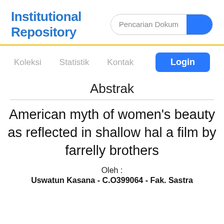Institutional Repository
[Figure (screenshot): Search bar with text 'Pencarian Dokum' and a blue search button on the right]
Koleksi   Statistik   Kontak
[Figure (screenshot): Login button (blue rounded rectangle)]
Abstrak
American myth of women’s beauty as reflected in shallow hal a film by farrelly brothers
Oleh :
Uswatun Kasana - C.O399064 - Fak. Sastra